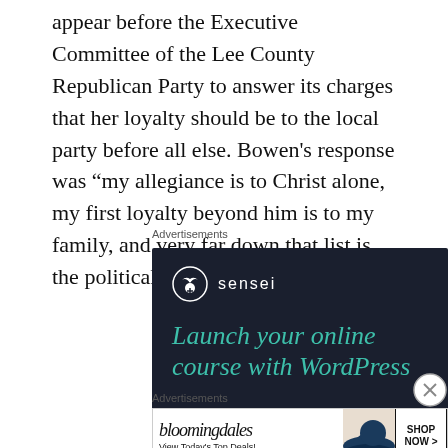appear before the Executive Committee of the Lee County Republican Party to answer its charges that her loyalty should be to the local party before all else. Bowen's response was “my allegiance is to Christ alone, my first loyalty beyond him is to my family, and very far down that list is the political party.”
Advertisements
[Figure (other): Sensei advertisement: dark navy background with Sensei logo (tree icon in circle) and text 'Launch your online course with WordPress' in teal italic font, with a teal rounded button at bottom.]
Advertisements
[Figure (other): Bloomingdale's advertisement: white background with bloomingdales italic logo, 'View Today's Top Deals!' tagline, a woman in a wide-brim hat, and a 'SHOP NOW >' button.]